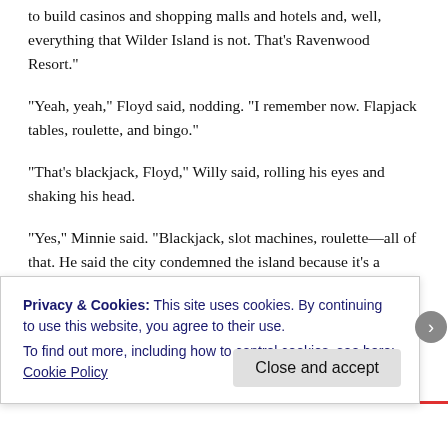to build casinos and shopping malls and hotels and, well, everything that Wilder Island is not. That’s Ravenwood Resort.
“Yeah, yeah,” Floyd said, nodding. “I remember now. Flapjack tables, roulette, and bingo.”
“That’s blackjack, Floyd,” Willy said, rolling his eyes and shaking his head.
“Yes,” Minnie said. “Blackjack, slot machines, roulette—all of that. He said the city condemned the island because it’s a nuisance. ‘A sewer of crows.’ That’s what he calls it.”
“How very uncouth,” Willy said. “In polite conversation, a gentleman should not invoke the sewer. Don’t you agree, my
Privacy & Cookies: This site uses cookies. By continuing to use this website, you agree to their use.
To find out more, including how to control cookies, see here:
Cookie Policy
Close and accept